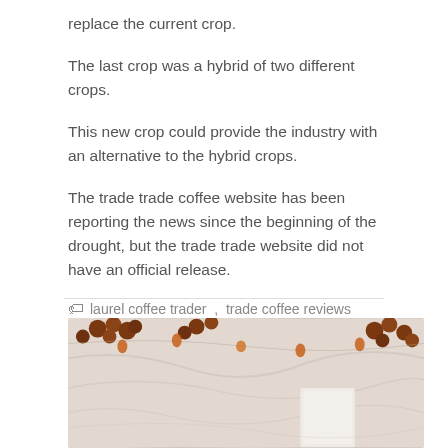replace the current crop.
The last crop was a hybrid of two different crops.
This new crop could provide the industry with an alternative to the hybrid crops.
The trade trade coffee website has been reporting the news since the beginning of the drought, but the trade trade website did not have an official release.
🏷 laurel coffee trader ,  trade coffee reviews
[Figure (photo): Photo of coffee berries and light strings on white fabric/sheets with a book or card visible]